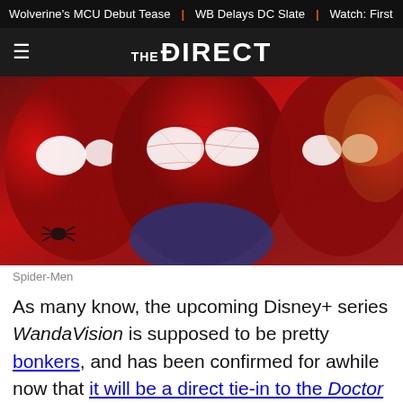Wolverine's MCU Debut Tease | WB Delays DC Slate | Watch: First
THE DIRECT
[Figure (photo): Three Spider-Men in their suits from different Marvel/Sony film iterations posed together, close-up composite image with red and blue colors.]
Spider-Men
As many know, the upcoming Disney+ series WandaVision is supposed to be pretty bonkers, and has been confirmed for awhile now that it will be a direct tie-in to the Doctor Strange sequel. But it hasn't been confirmed how much time will pass in the MCU between